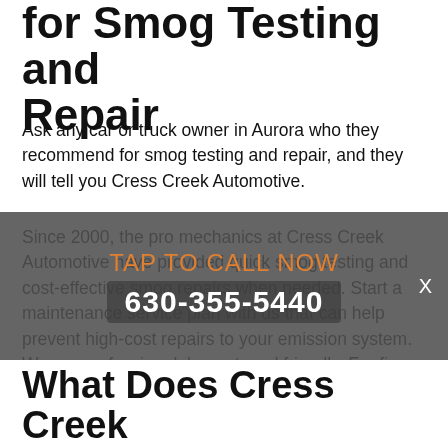for Smog Testing and Repair
Ask any car or truck owner in Aurora who they recommend for smog testing and repair, and they will tell you Cress Creek Automotive.
Since 2000, the pro mechanics at Cress Creek Automotive have provided quick smog testing and cost-effective smog repairs when needed. Start a maintenance service plan with us that can help prevent high-cost repairs to your emission system. We are professional, honest, and friendly. For five star, cost conscious smog testing and repair services call Cress Creek Automotive at 630-355-5440 to schedule an appointment today or stop by our location at 25 Illinois Rte 59 in Aurora, IL, 60504.
TAP TO CALL NOW
630-355-5440
What Does Cress Creek Automotive Do During a